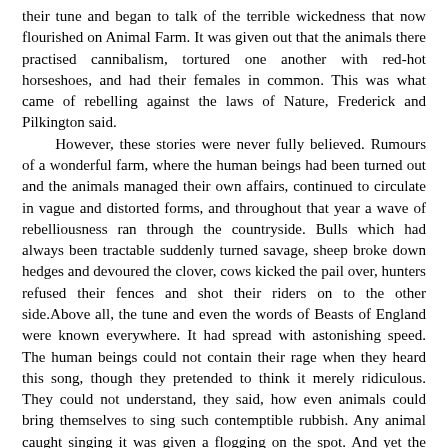their tune and began to talk of the terrible wickedness that now flourished on Animal Farm. It was given out that the animals there practised cannibalism, tortured one another with red-hot horseshoes, and had their females in common. This was what came of rebelling against the laws of Nature, Frederick and Pilkington said.

However, these stories were never fully believed. Rumours of a wonderful farm, where the human beings had been turned out and the animals managed their own affairs, continued to circulate in vague and distorted forms, and throughout that year a wave of rebelliousness ran through the countryside. Bulls which had always been tractable suddenly turned savage, sheep broke down hedges and devoured the clover, cows kicked the pail over, hunters refused their fences and shot their riders on to the other side.Above all, the tune and even the words of Beasts of England were known everywhere. It had spread with astonishing speed. The human beings could not contain their rage when they heard this song, though they pretended to think it merely ridiculous. They could not understand, they said, how even animals could bring themselves to sing such contemptible rubbish. Any animal caught singing it was given a flogging on the spot. And yet the song was irrepressible. The blackbirds whistled it in the hedges, the pigeons cooed it in the elms, it got into the din of the smithies and the tune of the church bells. And when the human beings listened to it, they secretly trembled, hearing in it a prophecy of their future doom.